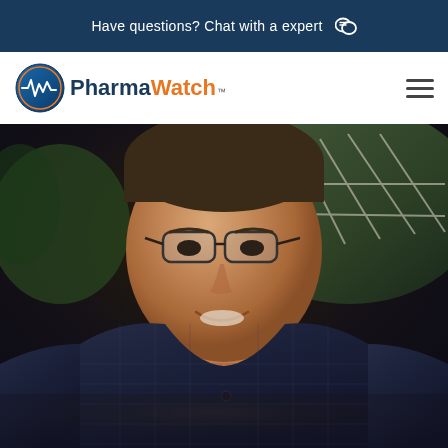Have questions? Chat with a expert 💬
[Figure (logo): PharmaWatch logo with circular icon and brand name]
[Figure (photo): Portrait photo of a middle-aged man with glasses wearing a dark blue checked shirt, smiling outdoors with trees and a fence in the background]